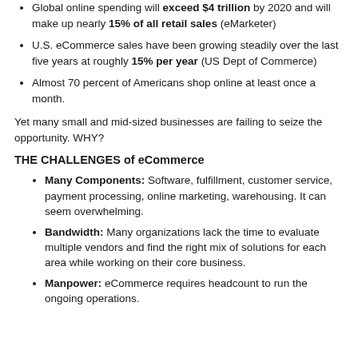Global online spending will exceed $4 trillion by 2020 and will make up nearly 15% of all retail sales (eMarketer)
U.S. eCommerce sales have been growing steadily over the last five years at roughly 15% per year (US Dept of Commerce)
Almost 70 percent of Americans shop online at least once a month.
Yet many small and mid-sized businesses are failing to seize the opportunity. WHY?
THE CHALLENGES of eCommerce
Many Components: Software, fulfillment, customer service, payment processing, online marketing, warehousing. It can seem overwhelming.
Bandwidth: Many organizations lack the time to evaluate multiple vendors and find the right mix of solutions for each area while working on their core business.
Manpower: eCommerce requires headcount to run the ongoing operations.